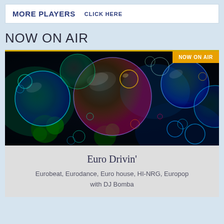MORE PLAYERS   CLICK HERE
NOW ON AIR
[Figure (photo): Colorful glowing soap bubbles on dark background, with a 'NOW ON AIR' orange badge in the top-right corner.]
Euro Drivin'
Eurobeat, Eurodance, Euro house, HI-NRG, Europop with DJ Bomba